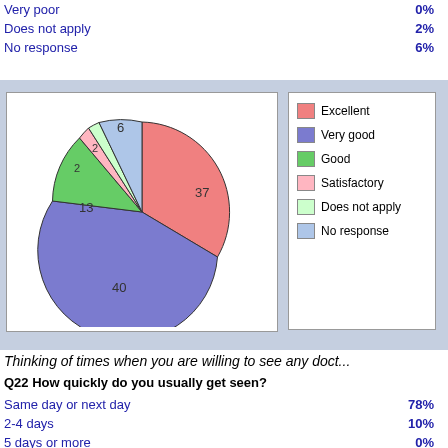| Response | Percent |
| --- | --- |
| Very poor | 0% |
| Does not apply | 2% |
| No response | 6% |
[Figure (pie-chart): Pie chart of ratings]
Thinking of times when you are willing to see any doctor...
Q22 How quickly do you usually get seen?
| Response | Percent |
| --- | --- |
| Same day or next day | 78% |
| 2-4 days | 10% |
| 5 days or more | 0% |